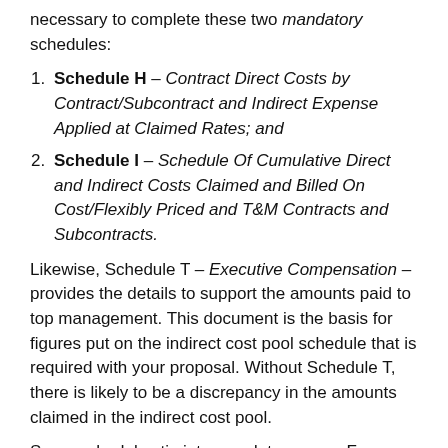necessary to complete these two mandatory schedules:
Schedule H – Contract Direct Costs by Contract/Subcontract and Indirect Expense Applied at Claimed Rates; and
Schedule I – Schedule Of Cumulative Direct and Indirect Costs Claimed and Billed On Cost/Flexibly Priced and T&M Contracts and Subcontracts.
Likewise, Schedule T – Executive Compensation – provides the details to support the amounts paid to top management. This document is the basis for figures put on the indirect cost pool schedule that is required with your proposal. Without Schedule T, there is likely to be a discrepancy in the amounts claimed in the indirect cost pool.
Some schedules tie into mandatory ones. For example, Schedule B – Reconciliation of Claimed Costs to T…